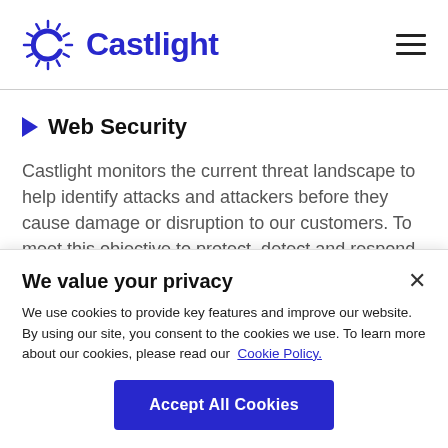Castlight
Web Security
Castlight monitors the current threat landscape to help identify attacks and attackers before they cause damage or disruption to our customers. To meet this objective to protect, detect and respond to advanced threats, we have implemented a suite of tools that help us protect the...
We value your privacy
We use cookies to provide key features and improve our website. By using our site, you consent to the cookies we use. To learn more about our cookies, please read our Cookie Policy.
Accept All Cookies